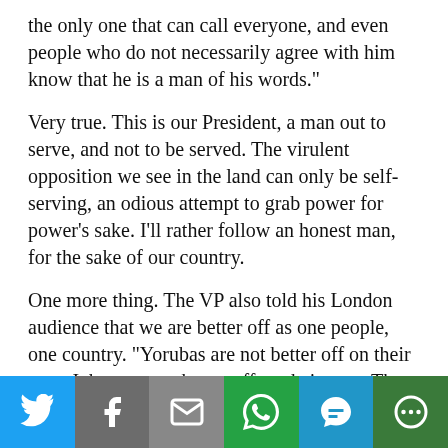the only one that can call everyone, and even people who do not necessarily agree with him know that he is a man of his words.”
Very true. This is our President, a man out to serve, and not to be served. The virulent opposition we see in the land can only be self-serving, an odious attempt to grab power for power’s sake. I’ll rather follow an honest man, for the sake of our country.
One more thing. The VP also told his London audience that we are better off as one people, one country. “Yorubas are not better off on their own. Igbos are not better off on their own. The North is not better off on its own. We are better off as one nation, that is why we are strong, and that is w…
[Figure (infographic): Social sharing bar with icons for Twitter (blue), Facebook (gray), Email (gray), WhatsApp (green), SMS (blue), and More (dark green)]